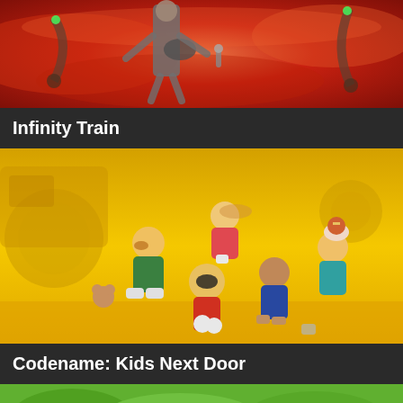[Figure (illustration): Animated scene with a character playing guitar against a red/orange swirling background — from the show Infinity Train]
Infinity Train
[Figure (illustration): Animated characters from Codename: Kids Next Door standing on a yellow background with workshop/garage setting]
Codename: Kids Next Door
[Figure (illustration): Partial view of another animated show at the bottom of the page]